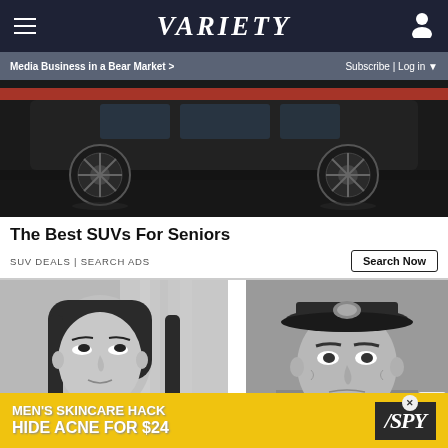VARIETY — Media Business in a Bear Market > | Subscribe | Log in
[Figure (photo): Black car SUV seen from the side, showing two wheels on a dark reflective floor, with a red accent trim visible on the roofline. Advertisement image for SUV deals.]
The Best SUVs For Seniors
SUV DEALS | SEARCH ADS
[Figure (photo): Black and white photograph of a young woman with long dark hair looking upward, appears to be from a 1960s or 1970s TV show or film.]
[Figure (photo): Black and white photograph of an older man wearing a military-style captain's hat with insignia, looking stern, from a vintage TV show.]
[Figure (advertisement): Yellow banner advertisement for SPY brand: MEN'S SKINCARE HACK — HIDE ACNE FOR $24, with SPY logo on the right side.]